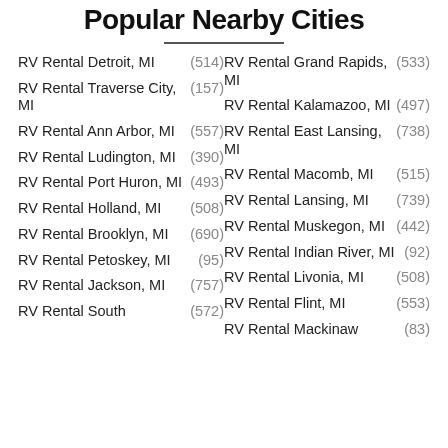Popular Nearby Cities
RV Rental Detroit, MI (514)
RV Rental Grand Rapids, MI (533)
RV Rental Traverse City, MI (157)
RV Rental Kalamazoo, MI (497)
RV Rental Ann Arbor, MI (557)
RV Rental East Lansing, MI (738)
RV Rental Ludington, MI (390)
RV Rental Macomb, MI (515)
RV Rental Port Huron, MI (493)
RV Rental Lansing, MI (739)
RV Rental Holland, MI (508)
RV Rental Muskegon, MI (442)
RV Rental Brooklyn, MI (690)
RV Rental Indian River, MI (92)
RV Rental Petoskey, MI (95)
RV Rental Livonia, MI (508)
RV Rental Jackson, MI (757)
RV Rental Flint, MI (553)
RV Rental South (572)
RV Rental Mackinaw (83)